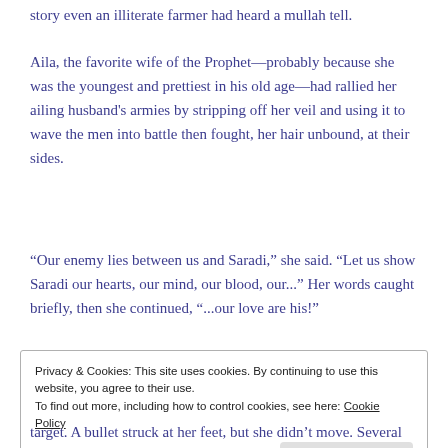story even an illiterate farmer had heard a mullah tell.
Aila, the favorite wife of the Prophet—probably because she was the youngest and prettiest in his old age—had rallied her ailing husband's armies by stripping off her veil and using it to wave the men into battle then fought, her hair unbound, at their sides.
“Our enemy lies between us and Saradi,” she said. “Let us show Saradi our hearts, our mind, our blood, our...” Her words caught briefly, then she continued, “...our love are his!”
Privacy & Cookies: This site uses cookies. By continuing to use this website, you agree to their use.
To find out more, including how to control cookies, see here: Cookie Policy
[Close and accept]
target. A bullet struck at her feet, but she didn’t move. Several